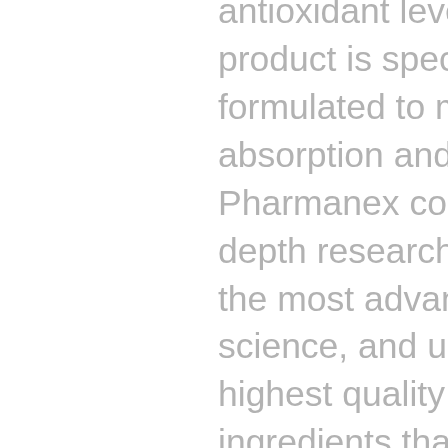antioxidant levels. The product is specially formulated to maximize absorption and efficacy. Pharmanex conducts in-depth research, uses the most advanced science, and uses the highest quality ingredients that are available for its products. Safety and scientifically-backed recommendations are of utmost importance and will parallel the standard of care you have come to know from me.

The scans are offered for $20 and may be done before any appointment.  If you would like a scan before your next